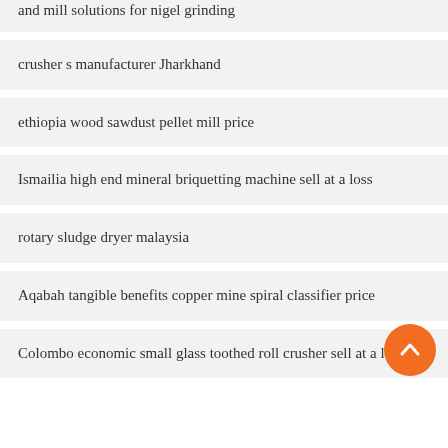and mill solutions for nigel grinding
crusher s manufacturer Jharkhand
ethiopia wood sawdust pellet mill price
Ismailia high end mineral briquetting machine sell at a loss
rotary sludge dryer malaysia
Aqabah tangible benefits copper mine spiral classifier price
Colombo economic small glass toothed roll crusher sell at a loss